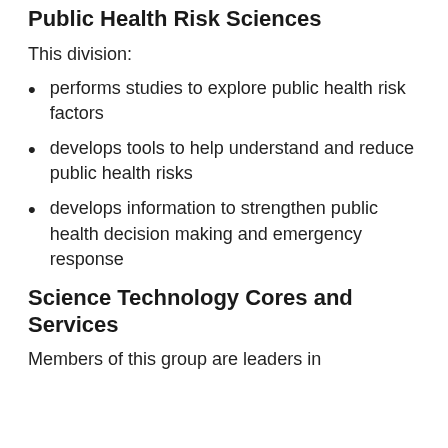Public Health Risk Sciences
This division:
performs studies to explore public health risk factors
develops tools to help understand and reduce public health risks
develops information to strengthen public health decision making and emergency response
Science Technology Cores and Services
Members of this group are leaders in